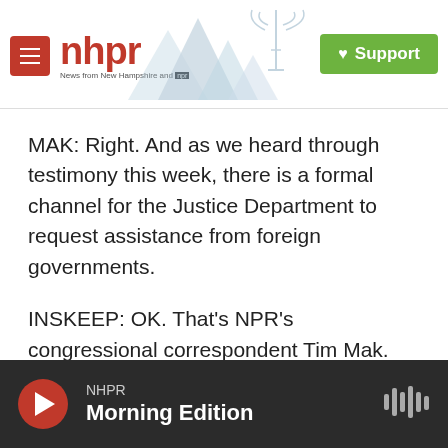[Figure (logo): NHPR logo with menu button, mountains illustration, and green Support button]
MAK: Right. And as we heard through testimony this week, there is a formal channel for the Justice Department to request assistance from foreign governments.
INSKEEP: OK. That's NPR's congressional correspondent Tim Mak. Transcript provided by NPR, Copyright NPR.
[Figure (other): Social share buttons: Facebook, Twitter, LinkedIn, Pinterest, Email]
NHPR Morning Edition